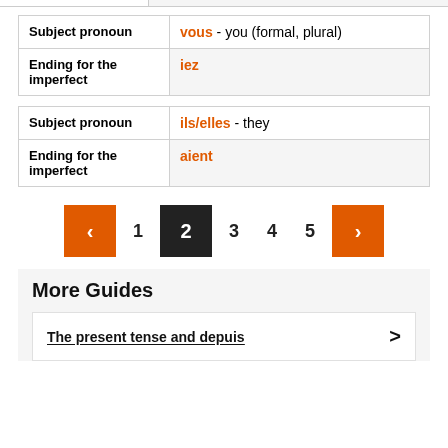| Subject pronoun | vous - you (formal, plural) |
| --- | --- |
| Ending for the imperfect | iez |
| Subject pronoun | ils/elles - they |
| --- | --- |
| Ending for the imperfect | aient |
< 1 2 3 4 5 >
More Guides
The present tense and depuis >